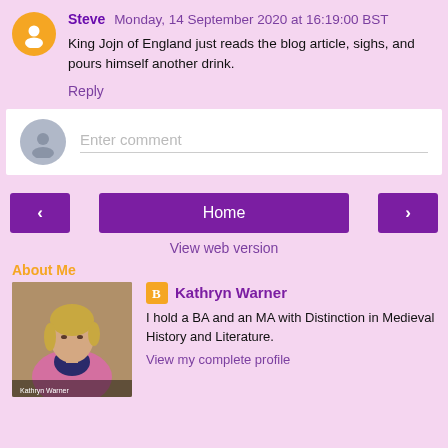Steve  Monday, 14 September 2020 at 16:19:00 BST
King Jojn of England just reads the blog article, sighs, and pours himself another drink.
Reply
Enter comment
Home
View web version
About Me
[Figure (photo): Photo of Kathryn Warner, a woman with blonde hair wearing a pink jacket]
Kathryn Warner
I hold a BA and an MA with Distinction in Medieval History and Literature.
View my complete profile